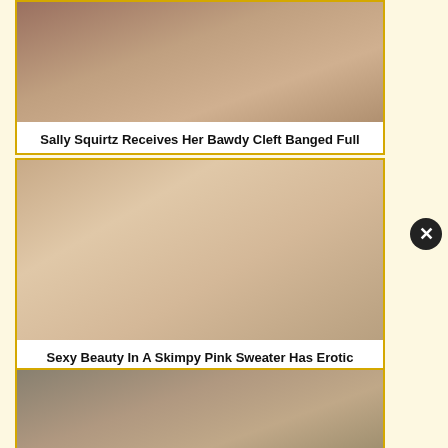[Figure (photo): Thumbnail image for first video card]
Sally Squirtz Receives Her Bawdy Cleft Banged Full
[Figure (photo): Thumbnail image for second video card]
Sexy Beauty In A Skimpy Pink Sweater Has Erotic
[Figure (photo): Thumbnail image for third video card]